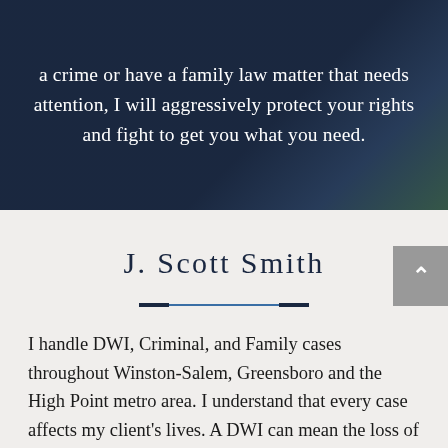a crime or have a family law matter that needs attention, I will aggressively protect your rights and fight to get you what you need.
J. Scott Smith
I handle DWI, Criminal, and Family cases throughout Winston-Salem, Greensboro and the High Point metro area. I understand that every case affects my client's lives. A DWI can mean the loss of